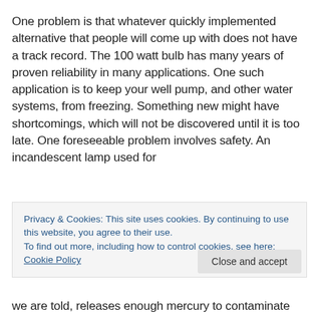One problem is that whatever quickly implemented alternative that people will come up with does not have a track record. The 100 watt bulb has many years of proven reliability in many applications. One such application is to keep your well pump, and other water systems, from freezing. Something new might have shortcomings, which will not be discovered until it is too late. One foreseeable problem involves safety. An incandescent lamp used for
Privacy & Cookies: This site uses cookies. By continuing to use this website, you agree to their use.
To find out more, including how to control cookies, see here: Cookie Policy
we are told, releases enough mercury to contaminate